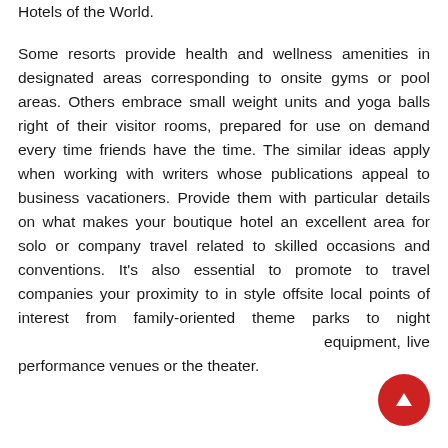Hotels of the World.
Some resorts provide health and wellness amenities in designated areas corresponding to onsite gyms or pool areas. Others embrace small weight units and yoga balls right of their visitor rooms, prepared for use on demand every time friends have the time. The similar ideas apply when working with writers whose publications appeal to business vacationers. Provide them with particular details on what makes your boutique hotel an excellent area for solo or company travel related to skilled occasions and conventions. It's also essential to promote to travel companies your proximity to in style offsite local points of interest from family-oriented theme parks to night equipment, live performance venues or the theater.